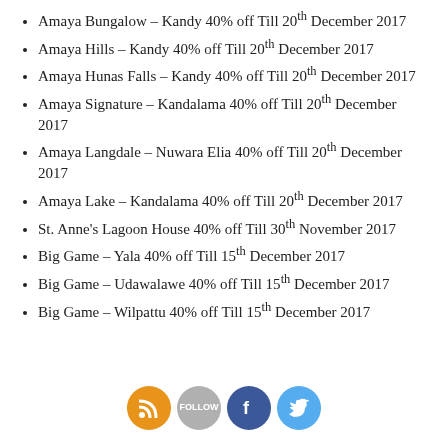Amaya Bungalow – Kandy 40% off Till 20th December 2017
Amaya Hills – Kandy 40% off Till 20th December 2017
Amaya Hunas Falls – Kandy 40% off Till 20th December 2017
Amaya Signature – Kandalama 40% off Till 20th December 2017
Amaya Langdale – Nuwara Elia 40% off Till 20th December 2017
Amaya Lake – Kandalama 40% off Till 20th December 2017
St. Anne's Lagoon House 40% off Till 30th November 2017
Big Game – Yala 40% off Till 15th December 2017
Big Game – Udawalawe 40% off Till 15th December 2017
Big Game – Wilpattu 40% off Till 15th December 2017